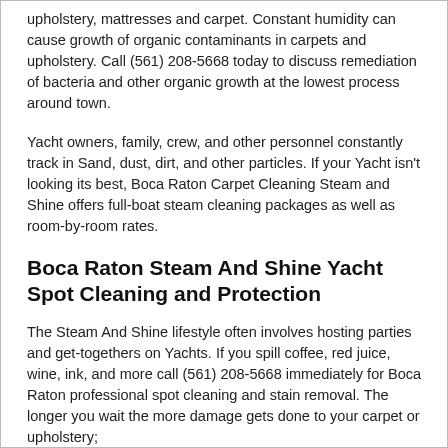upholstery, mattresses and carpet. Constant humidity can cause growth of organic contaminants in carpets and upholstery. Call (561) 208-5668 today to discuss remediation of bacteria and other organic growth at the lowest process around town.
Yacht owners, family, crew, and other personnel constantly track in Sand, dust, dirt, and other particles. If your Yacht isn't looking its best, Boca Raton Carpet Cleaning Steam and Shine offers full-boat steam cleaning packages as well as room-by-room rates.
Boca Raton Steam And Shine Yacht Spot Cleaning and Protection
The Steam And Shine lifestyle often involves hosting parties and get-togethers on Yachts. If you spill coffee, red juice, wine, ink, and more call (561) 208-5668 immediately for Boca Raton professional spot cleaning and stain removal. The longer you wait the more damage gets done to your carpet or upholstery;